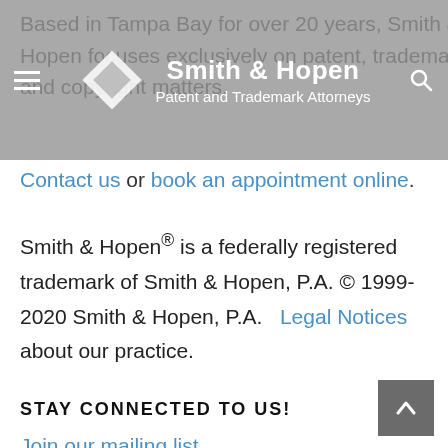Smith & Hopen — Patent and Trademark Attorneys
Based in Tampa Bay for over 20 years, Smith & Hopen focuses exclusively on patent, trademark and copyright matters.
Contact us or book an appointment online.
Smith & Hopen® is a federally registered trademark of Smith & Hopen, P.A. © 1999-2020 Smith & Hopen, P.A.   Legal Notices about our practice.
STAY CONNECTED TO US!
Join our mailing list.